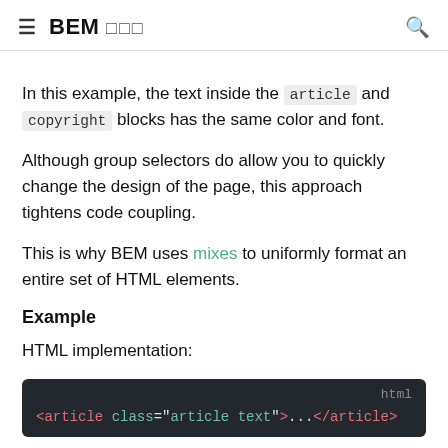BEM 方法论
In this example, the text inside the `article` and `copyright` blocks has the same color and font.
Although group selectors do allow you to quickly change the design of the page, this approach tightens code coupling.
This is why BEM uses mixes to uniformly format an entire set of HTML elements.
Example
HTML implementation:
[Figure (screenshot): Dark code block showing HTML: <article class="article text">...</article>]